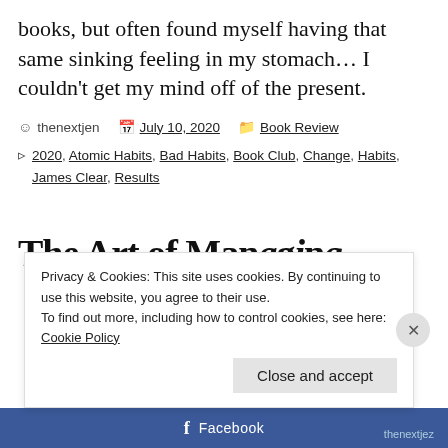books, but often found myself having that same sinking feeling in my stomach… I couldn't get my mind off of the present.
thenextjen   July 10, 2020   Book Review
2020, Atomic Habits, Bad Habits, Book Club, Change, Habits, James Clear, Results
The Art of Managing
Privacy & Cookies: This site uses cookies. By continuing to use this website, you agree to their use.
To find out more, including how to control cookies, see here: Cookie Policy
Close and accept